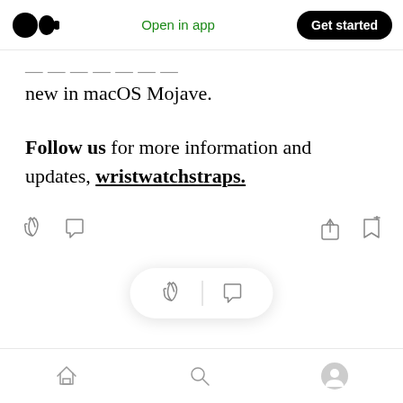Medium app header — logo, Open in app, Get started
new in macOS Mojave.
Follow us for more information and updates, wristwatchstraps.
[Figure (screenshot): Article interaction bar with clap, comment, share, and bookmark icons; floating clap+comment bubble; bottom navigation bar with home, search, and profile icons]